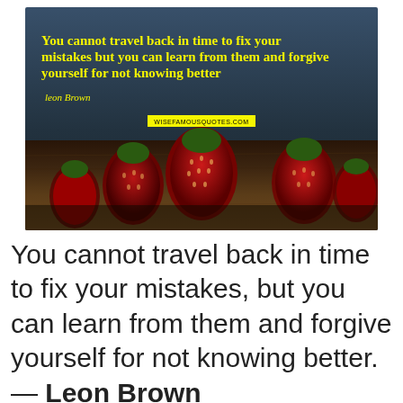[Figure (photo): Dark atmospheric photo with strawberries on a wooden surface and dark blue-grey background, overlaid with yellow bold cursive text quoting Leon Brown, and a wisefamousquotes.com watermark]
You cannot travel back in time to fix your mistakes, but you can learn from them and forgive yourself for not knowing better. — Leon Brown